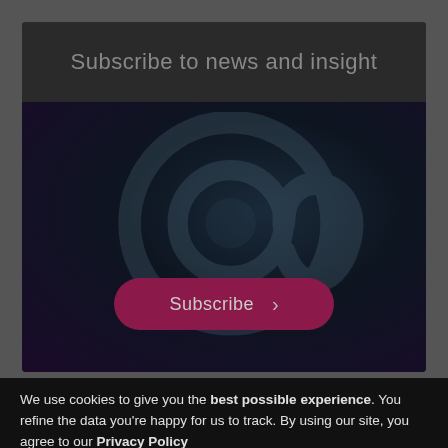Subscribe to news and insight
[Figure (illustration): Dark background with large semi-transparent @ symbol watermark and a crimson/magenta rounded 'Subscribe >' button]
We use cookies to give you the best possible experience. You refine the data you're happy for us to track. By using our site, you agree to our Privacy Policy